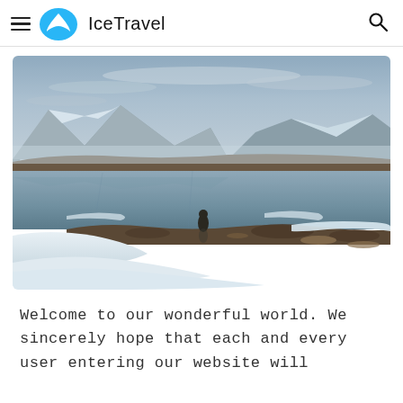IceTravel
[Figure (photo): A snowy mountain landscape with a still reflective lake or pool in the foreground, rocky terrain covered in snow, mountains visible in the background under a cloudy sky. Scenery reflects in the water. Typical Icelandic or Arctic winter landscape.]
Welcome to our wonderful world. We sincerely hope that each and every user entering our website will